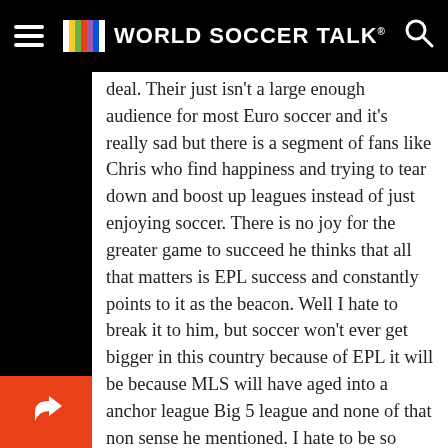World Soccer Talk
deal. Their just isn't a large enough audience for most Euro soccer and it's really sad but there is a segment of fans like Chris who find happiness and trying to tear down and boost up leagues instead of just enjoying soccer. There is no joy for the greater game to succeed he thinks that all that matters is EPL success and constantly points to it as the beacon. Well I hate to break it to him, but soccer won't ever get bigger in this country because of EPL it will be because MLS will have aged into a anchor league Big 5 league and none of that non sense he mentioned. I hate to be so blunt but his over the topness and anti -MLS laurent him and WST getting called out